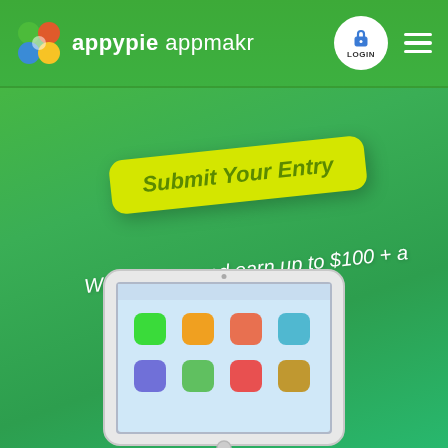[Figure (logo): Appy Pie AppMakr logo with colorful circle icon and white text on green header bar, login button and hamburger menu]
[Figure (infographic): Yellow rounded rectangle button with text 'Submit Your Entry' rotated slightly counter-clockwise on green background]
Write a blog and earn up to $100 + a chance to win an iPad
[Figure (photo): White iPad mini showing home screen with app icons, partially visible at bottom of page]